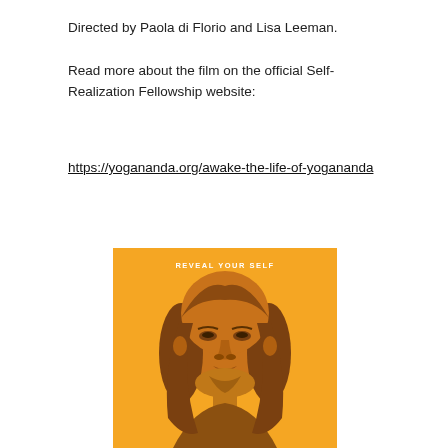Directed by Paola di Florio and Lisa Leeman.
Read more about the film on the official Self-Realization Fellowship website:
https://yogananda.org/awake-the-life-of-yogananda
[Figure (illustration): Movie poster for 'Awake: The Life of Yogananda' with orange background, showing a portrait of Yogananda looking upward, with text 'REVEAL YOUR SELF' at the top in white letters.]